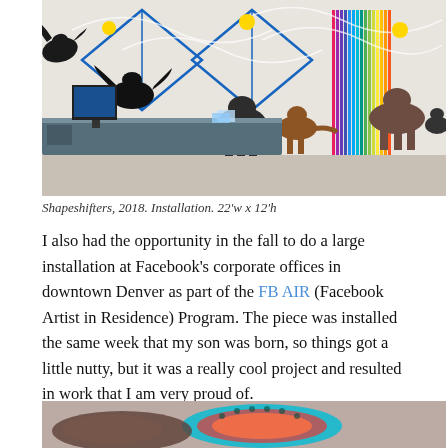[Figure (photo): Interior art installation showing a large mural on a white wall featuring silhouettes of birds (crows/ravens), wolves, and foxes, with blue geometric diamond shapes and colorful vertical stripes. A long reception desk is visible in the foreground.]
Shapeshifters, 2018. Installation. 22'w x 12'h
I also had the opportunity in the fall to do a large installation at Facebook's corporate offices in downtown Denver as part of the FB AIR (Facebook Artist in Residence) Program. The piece was installed the same week that my son was born, so things got a little nutty, but it was a really cool project and resulted in work that I am very proud of.
[Figure (photo): Bottom portion of another photograph showing colorful artwork, partially visible at the bottom edge of the page.]